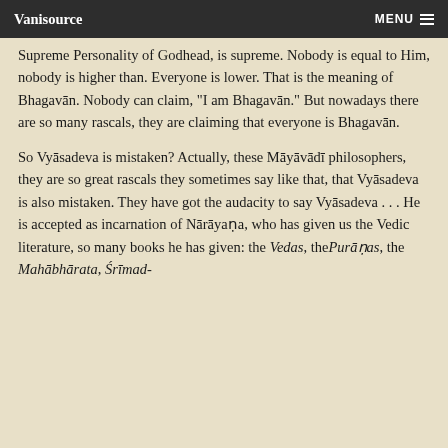Vanisource | MENU
Supreme Personality of Godhead, is supreme. Nobody is equal to Him, nobody is higher than. Everyone is lower. That is the meaning of Bhagavān. Nobody can claim, "I am Bhagavān." But nowadays there are so many rascals, they are claiming that everyone is Bhagavān.
So Vyāsadeva is mistaken? Actually, these Māyāvādī philosophers, they are so great rascals they sometimes say like that, that Vyāsadeva is also mistaken. They have got the audacity to say Vyāsadeva . . . He is accepted as incarnation of Nārāyaṇa, who has given us the Vedic literature, so many books he has given: the Vedas, the Purāṇas, the Mahābhārata, Śrīmad-